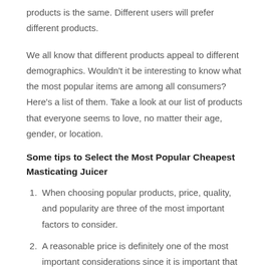products is the same. Different users will prefer different products.
We all know that different products appeal to different demographics. Wouldn't it be interesting to know what the most popular items are among all consumers? Here's a list of them. Take a look at our list of products that everyone seems to love, no matter their age, gender, or location.
Some tips to Select the Most Popular Cheapest Masticating Juicer
When choosing popular products, price, quality, and popularity are three of the most important factors to consider.
A reasonable price is definitely one of the most important considerations since it is important that it meets your needs.
In addition to considering the product's quality, you should also think about whether it meets your standards. If it does